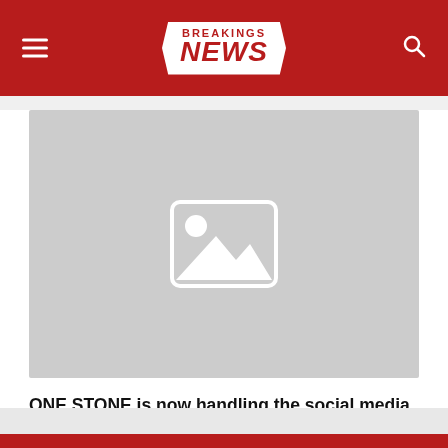BREAKINGS NEWS
[Figure (photo): Placeholder image with grey background and generic image icon (mountain/sun placeholder)]
ONE STONE is now handling the social media accounts of celebrities and brands worth 5M+ Audience